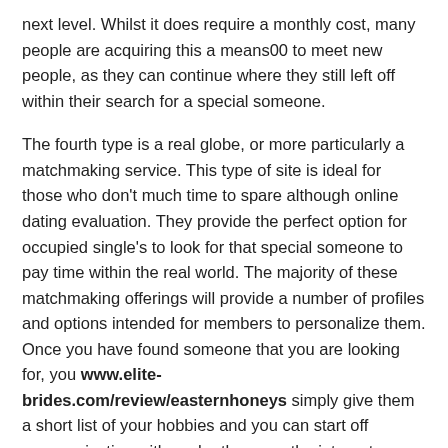next level. Whilst it does require a monthly cost, many people are acquiring this a means00 to meet new people, as they can continue where they still left off within their search for a special someone.
The fourth type is a real globe, or more particularly a matchmaking service. This type of site is ideal for those who don't much time to spare although online dating evaluation. They provide the perfect option for occupied single's to look for that special someone to pay time within the real world. The majority of these matchmaking offerings will provide a number of profiles and options intended for members to personalize them. Once you have found someone that you are looking for, you www.elite-brides.com/review/easternhoneys simply give them a short list of your hobbies and you can start off communicating with each other over the internet.
Total, if you are looking to meet a lot of people, quickly,